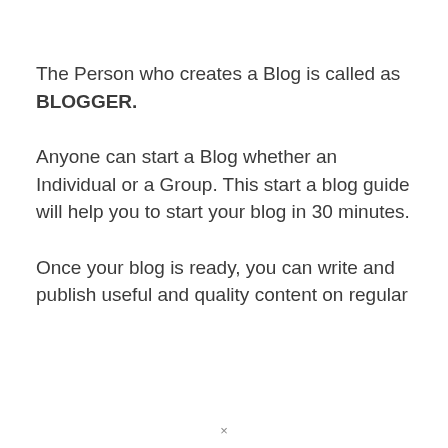The Person who creates a Blog is called as BLOGGER.
Anyone can start a Blog whether an Individual or a Group. This start a blog guide will help you to start your blog in 30 minutes.
Once your blog is ready, you can write and publish useful and quality content on regular